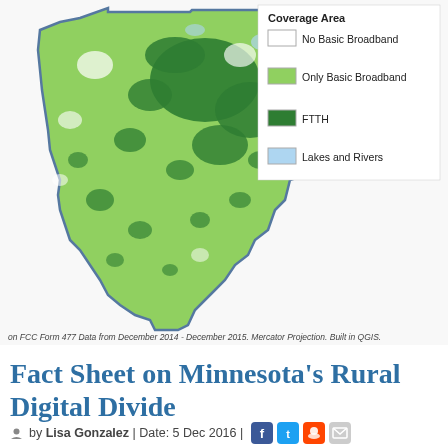[Figure (map): Map of Minnesota showing broadband coverage areas. Dark green indicates FTTH coverage, light green indicates Only Basic Broadband, white indicates No Basic Broadband, and light blue indicates Lakes and Rivers.]
on FCC Form 477 Data from December 2014 - December 2015. Mercator Projection. Built in QGIS.
Fact Sheet on Minnesota’s Rural Digital Divide
by Lisa Gonzalez | Date: 5 Dec 2016 |
The fact sheet highlights the great work that Minnesota cooperatives and municipalities have done to bring fast, affordable, reliable Internet service to rural areas throughout the state. They’ve built many Fiber-to-the-Home (FTTH) networks, but there is still much work